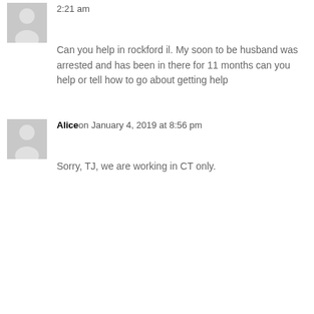2:21 am
Can you help in rockford il. My soon to be husband was arrested and has been in there for 11 months can you help or tell how to go about getting help
Aliceon January 4, 2019 at 8:56 pm
Sorry, TJ, we are working in CT only.